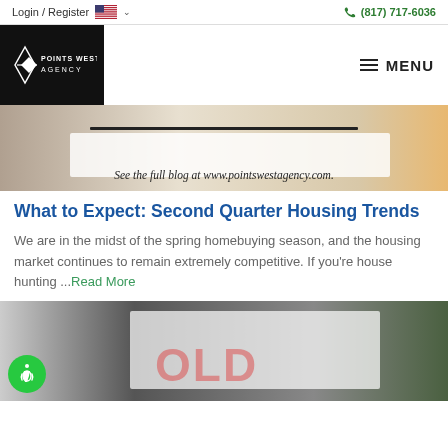Login / Register  (817) 717-6036
[Figure (logo): Points West Agency logo — white geometric diamond/arrow icon with text POINTS WEST AGENCY on black background]
[Figure (photo): Hero banner image with text: See the full blog at www.pointswestagency.com.]
What to Expect: Second Quarter Housing Trends
We are in the midst of the spring homebuying season, and the housing market continues to remain extremely competitive. If you're house hunting ... Read More
[Figure (photo): Bottom image showing a house with a sold sign, partially visible]